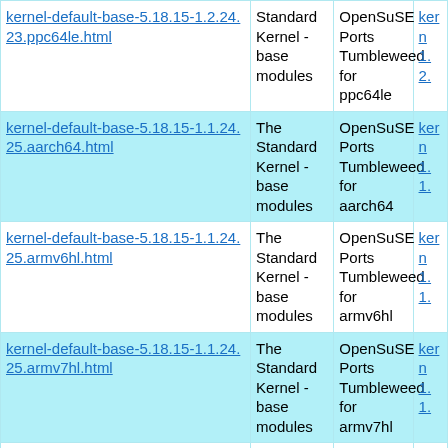| File | Description | Repository | Link |
| --- | --- | --- | --- |
| kernel-default-base-5.18.15-1.2.24.23.ppc64le.html | The Standard Kernel - base modules | OpenSuSE Ports Tumbleweed for ppc64le | kern 1.2. |
| kernel-default-base-5.18.15-1.1.24.25.aarch64.html | The Standard Kernel - base modules | OpenSuSE Ports Tumbleweed for aarch64 | kern 1.1. |
| kernel-default-base-5.18.15-1.1.24.25.armv6hl.html | The Standard Kernel - base modules | OpenSuSE Ports Tumbleweed for armv6hl | kern 1.1. |
| kernel-default-base-5.18.15-1.1.24.25.armv7hl.html | The Standard Kernel - base modules | OpenSuSE Ports Tumbleweed for armv7hl | kern 1.1. |
| kernel-default-base-5.18.15-1.1.24.19.riscv64.html | The Standard Kernel - base modules | OpenSuSE Ports Tumbleweed for riscv64 | kern 1.1. |